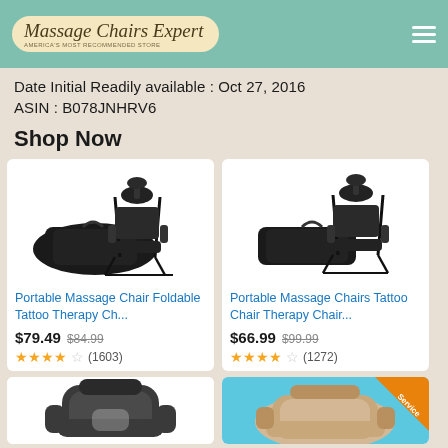Massage Chairs Expert
Date Initial Readily available : Oct 27, 2016
ASIN : B078JNHRV6
Shop Now
[Figure (photo): Portable massage chair, foldable, black, with carrying bag]
Portable Massage Chair Foldable Tattoo Therapy Ch...
$79.49 $84.99
★★★★☆ (1603)
[Figure (photo): Portable massage chair, tattoo chair, black, with carrying bag]
Portable Massage Chairs Tattoo Chair Therapy Chair...
$66.99 $99.99
★★★★☆ (1272)
[Figure (photo): Black full-body massage chair, modern design]
[Figure (photo): Beige massage chair with service badge in corner]